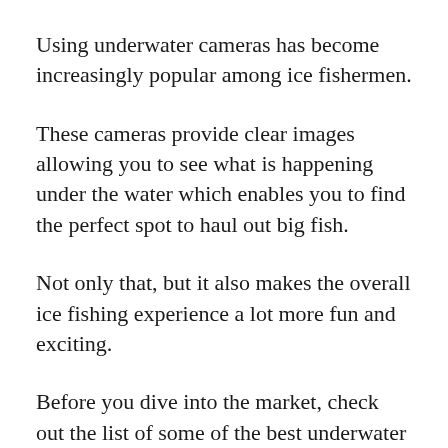Using underwater cameras has become increasingly popular among ice fishermen.
These cameras provide clear images allowing you to see what is happening under the water which enables you to find the perfect spot to haul out big fish.
Not only that, but it also makes the overall ice fishing experience a lot more fun and exciting.
Before you dive into the market, check out the list of some of the best underwater cameras that you can buy this 2022 below.